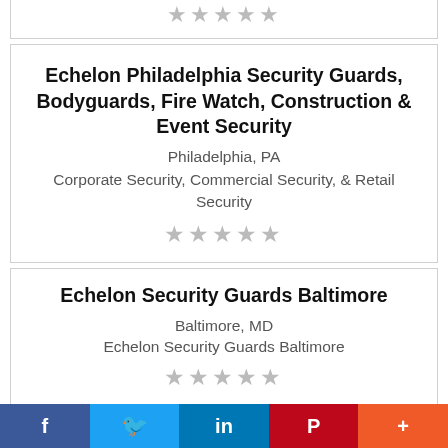★★★★★ (partial top card stars)
Echelon Philadelphia Security Guards, Bodyguards, Fire Watch, Construction & Event Security
Philadelphia, PA
Corporate Security, Commercial Security, & Retail Security
★★★★★
Echelon Security Guards Baltimore
Baltimore, MD
Echelon Security Guards Baltimore
★★★★★
Echelon Security Guards, Bodyguards, Construction & Event Security Baltimore
f  🐦  in  P  +